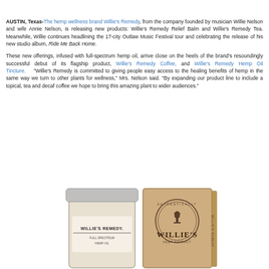AUSTIN, Texas-The hemp wellness brand Willie's Remedy, from the company founded by musician Willie Nelson and wife Annie Nelson, is releasing new products: Willie's Remedy Relief Balm and Willie's Remedy Tea. Meanwhile, Willie continues headlining the 17-city Outlaw Music Festival tour and celebrating the release of his new studio album, Ride Me Back Home.
These new offerings, infused with full-spectrum hemp oil, arrive close on the heels of the brand's resoundingly successful debut of its flagship product, Willie's Remedy Coffee, and Willie's Remedy Hemp Oil Tincture. "Willie's Remedy is committed to giving people easy access to the healing benefits of hemp in the same way we turn to other plants for wellness," Mrs. Nelson said. "By expanding our product line to include a topical, tea and decaf coffee we hope to bring this amazing plant to wider audiences."
[Figure (photo): Two product photos: a glass jar labeled Willie's Remedy with a silver lid, and a brown kraft paper box with Willie's branding on it.]